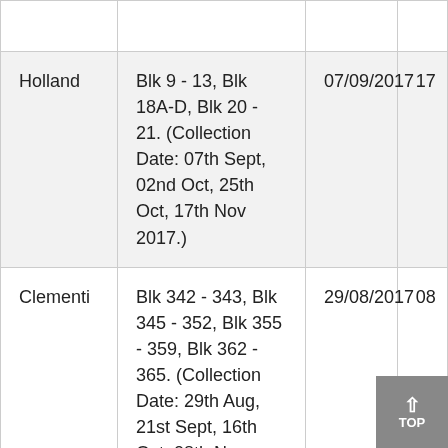| Holland | Blk 9 - 13, Blk 18A-D, Blk 20 - 21. (Collection Date: 07th Sept, 02nd Oct, 25th Oct, 17th Nov 2017.) | 07/09/2017 | 17 |
| Clementi | Blk 342 - 343, Blk 345 - 352, Blk 355 - 359, Blk 362 - 365. (Collection Date: 29th Aug, 21st Sept, 16th Oct, 08th Nov 2017.) | 29/08/2017 | 08 |
| Others | C'Wealth: Blk 410 - 415. Clementi: Blk | 30/08/2017 | 09 |